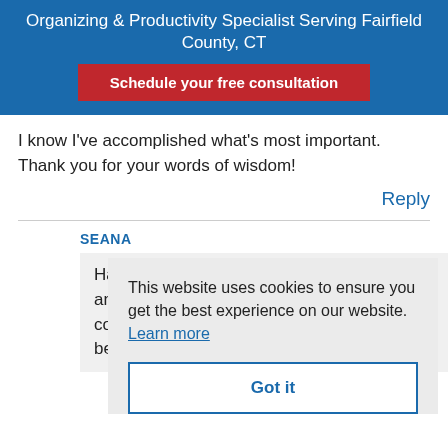Organizing & Productivity Specialist Serving Fairfield County, CT
Schedule your free consultation
I know I've accomplished what's most important. Thank you for your words of wisdom!
Reply
SEANA
Ha
am
co
be
This website uses cookies to ensure you get the best experience on our website. Learn more Got it
Reply